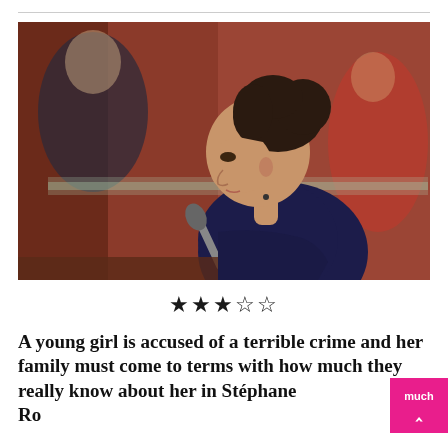[Figure (photo): A young woman with dark hair in an updo, wearing a dark navy top, seated in what appears to be a courtroom. She is viewed in profile, facing left, with a microphone visible in front of her. People in the background are blurred.]
★★★☆☆
A young girl is accused of a terrible crime and her family must come to terms with how much they really know about her in Stéphane Ro...